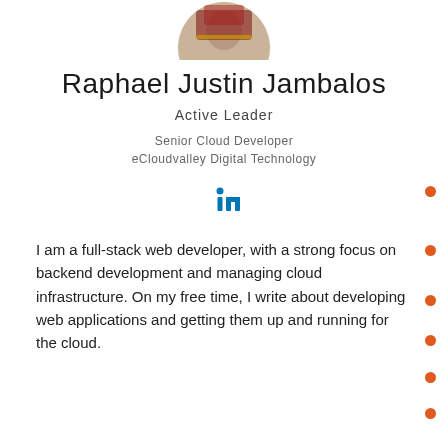[Figure (photo): Circular cropped profile photo of Raphael Justin Jambalos at the top of the page]
Raphael Justin Jambalos
Active Leader
Senior Cloud Developer
eCloudvalley Digital Technology
[Figure (logo): LinkedIn 'in' logo in blue]
I am a full-stack web developer, with a strong focus on backend development and managing cloud infrastructure. On my free time, I write about developing web applications and getting them up and running for the cloud.